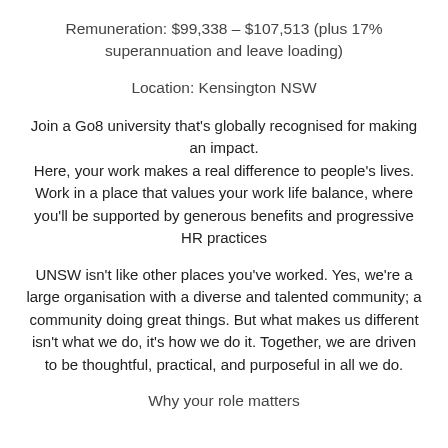Remuneration: $99,338 – $107,513 (plus 17% superannuation and leave loading)
Location: Kensington NSW
Join a Go8 university that's globally recognised for making an impact. Here, your work makes a real difference to people's lives. Work in a place that values your work life balance, where you'll be supported by generous benefits and progressive HR practices
UNSW isn't like other places you've worked. Yes, we're a large organisation with a diverse and talented community; a community doing great things. But what makes us different isn't what we do, it's how we do it. Together, we are driven to be thoughtful, practical, and purposeful in all we do.
Why your role matters